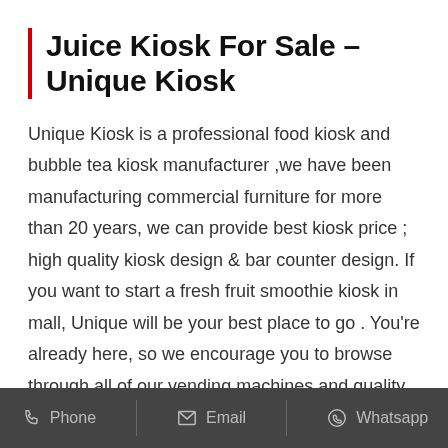Juice Kiosk For Sale – Unique Kiosk
Unique Kiosk is a professional food kiosk and bubble tea kiosk manufacturer ,we have been manufacturing commercial furniture for more than 20 years, we can provide best kiosk price ; high quality kiosk design & bar counter design. If you want to start a fresh fruit smoothie kiosk in mall, Unique will be your best place to go . You're already here, so we encourage you to browse through all of our vending machines and quality machine parts. You can order through our secure online system or gives us a call at
Phone  Email  Whatsapp